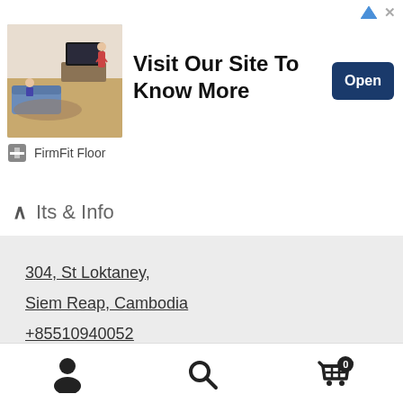[Figure (screenshot): Advertisement banner with room interior photo, 'Visit Our Site To Know More' text, Open button, and FirmFit Floor brand.]
Its & Info
304, St Loktaney,
Siem Reap, Cambodia
+85510940052
tsophoat@gmail.com
Lunch: 11am - 2pm
Time (+7): M-Th 8am - 5pm, Fri-Sat:2pm - 5pm
[Figure (screenshot): Bottom navigation bar with user/profile icon, search icon, and shopping cart icon with badge showing 0.]